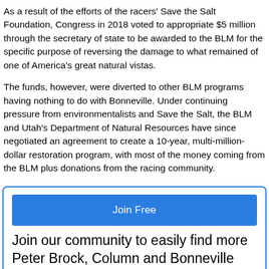As a result of the efforts of the racers' Save the Salt Foundation, Congress in 2018 voted to appropriate $5 million through the secretary of state to be awarded to the BLM for the specific purpose of reversing the damage to what remained of one of America's great natural vistas.
The funds, however, were diverted to other BLM programs having nothing to do with Bonneville. Under continuing pressure from environmentalists and Save the Salt, the BLM and Utah's Department of Natural Resources have since negotiated an agreement to create a 10-year, multi-million-dollar restoration program, with most of the money coming from the BLM plus donations from the racing community.
Join Free
Join our community to easily find more Peter Brock, Column and Bonneville Salt